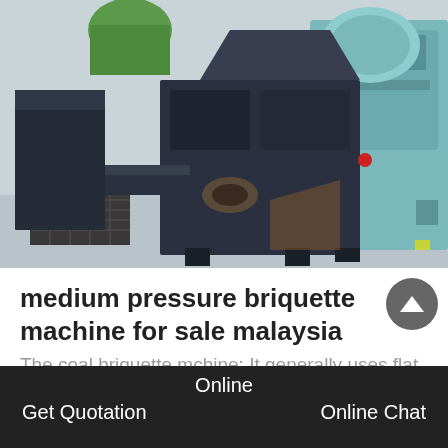[Figure (photo): Industrial briquette machines in a factory setting. Large dark metal machinery in foreground, teal/grey machines in background on a light grey factory floor.]
medium pressure briquette machine for sale malaysia
The coal briquette machine: It generally uses flat
Online  Get Quotation  Online Chat